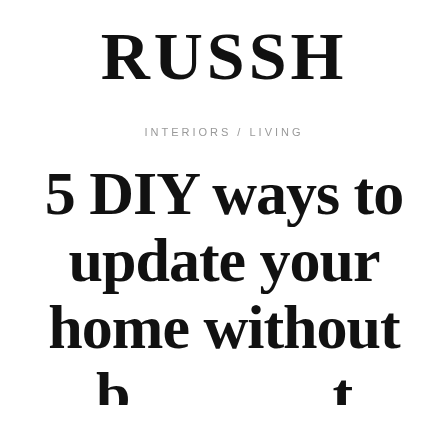RUSSH
INTERIORS / LIVING
5 DIY ways to update your home without [text cut off]